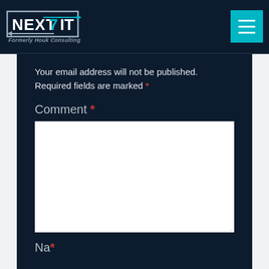[Figure (logo): Next7 IT logo (formerly Houk Consulting) with navigation hamburger menu on dark navy background]
Your email address will not be published. Required fields are marked *
Comment *
[Figure (screenshot): Empty white comment textarea input box]
Na *